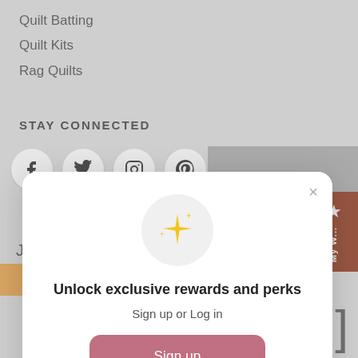Quilt Batting
Quilt Kits
Rag Quilts
STAY CONNECTED
[Figure (screenshot): Social media icons row: Facebook, Twitter, Instagram, Pinterest. 'LIKE US on FACEBOOK' text to the right.]
[Figure (screenshot): Modal dialog overlay: sparkle icon, 'Unlock exclusive rewards and perks', 'Sign up or Log in', pink Sign up button, 'Already have an account? Sign in']
Unlock exclusive rewards and perks
Sign up or Log in
Sign up
Already have an account? Sign in